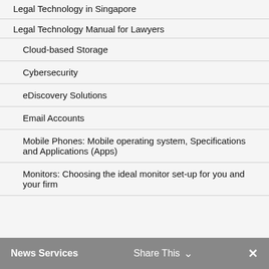Legal Technology in Singapore
Legal Technology Manual for Lawyers
Cloud-based Storage
Cybersecurity
eDiscovery Solutions
Email Accounts
Mobile Phones: Mobile operating system, Specifications and Applications (Apps)
Monitors: Choosing the ideal monitor set-up for you and your firm
News Services   Share This ∨   ✕